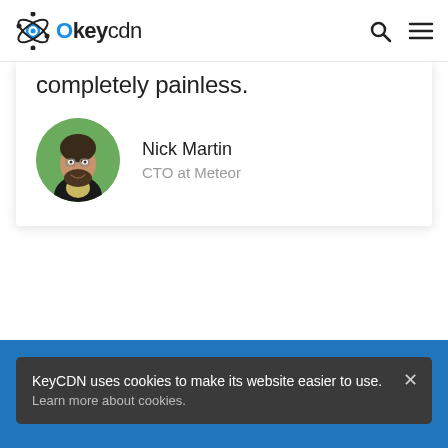KeyCDN logo, search icon, menu icon
completely painless.
[Figure (photo): Circular headshot photo of Nick Martin, a man with glasses and a beard, smiling, with green foliage in the background.]
Nick Martin
CTO at Meteor
KeyCDN uses cookies to make its website easier to use. Learn more about cookies.